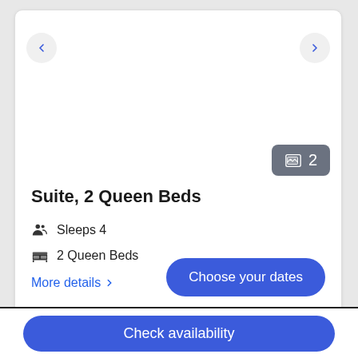[Figure (screenshot): Hotel room booking UI card showing Suite, 2 Queen Beds with navigation arrows, photo count badge showing 2, room details including Sleeps 4 and 2 Queen Beds, a More details link, and a Choose your dates button]
Suite, 2 Queen Beds
Sleeps 4
2 Queen Beds
More details >
Choose your dates
Check availability